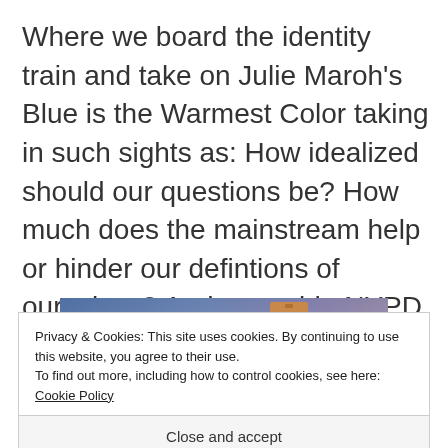Where we board the identity train and take on Julie Maroh's Blue is the Warmest Color taking in such sights as: How idealized should our questions be? How much does the mainstream help or hinder our defintions of ourselves? And gay pride NYPD patrol car – yay or nay?
[Figure (photo): Partial image showing a gradient from blue to purple/pink, with a small brown rectangular element near the top center — appears to be a book cover for Blue is the Warmest Color.]
Privacy & Cookies: This site uses cookies. By continuing to use this website, you agree to their use. To find out more, including how to control cookies, see here: Cookie Policy
Close and accept